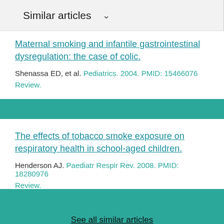Similar articles
Maternal smoking and infantile gastrointestinal dysregulation: the case of colic.
Shenassa ED, et al. Pediatrics. 2004. PMID: 15466076
Review.
The effects of tobacco smoke exposure on respiratory health in school-aged children.
Henderson AJ. Paediatr Respir Rev. 2008. PMID: 18280976
Review.
See all similar articles
Cited by